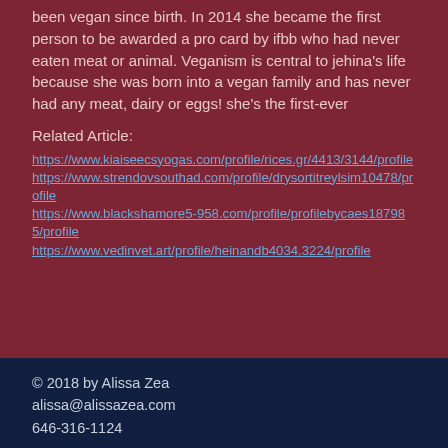been vegan since birth. In 2014 she became the first person to be awarded a pro card by ifbb who had never eaten meat or animal. Veganism is central to jehina's life because she was born into a vegan family and has never had any meat, dairy or eggs! she's the first-ever
Related Article:
https://www.kiaiseecsyogas.com/profile/rices.gr/4413/3144/profile https://www.strendovsouthad.com/profile/drysortitreylsim10478/profile https://www.blackshamore5-958.com/profile/profilebycaes187985/profile https://www.vedinvet.art/profile/heinandb4034.3224/profile
© 2018 by Alissa Zea
alissa@alissazea.com
646-316-1124